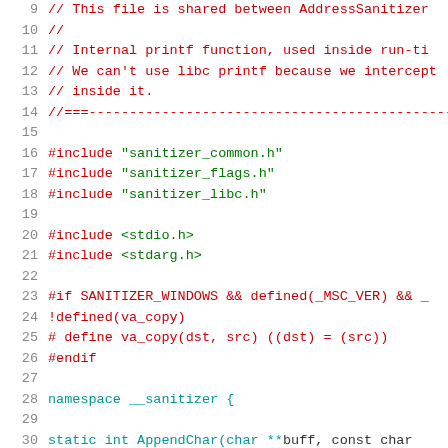[Figure (screenshot): C++ source code showing lines 9-30 of a sanitizer printf implementation file, with line numbers, comments in red, include directives with strings in green, preprocessor directives, and namespace declaration in teal.]